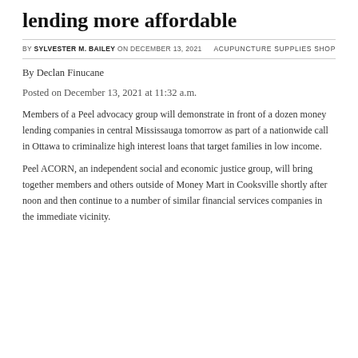lending more affordable
BY SYLVESTER M. BAILEY ON DECEMBER 13, 2021
ACUPUNCTURE SUPPLIES SHOP
By Declan Finucane
Posted on December 13, 2021 at 11:32 a.m.
Members of a Peel advocacy group will demonstrate in front of a dozen money lending companies in central Mississauga tomorrow as part of a nationwide call in Ottawa to criminalize high interest loans that target families in low income.
Peel ACORN, an independent social and economic justice group, will bring together members and others outside of Money Mart in Cooksville shortly after noon and then continue to a number of similar financial services companies in the immediate vicinity.